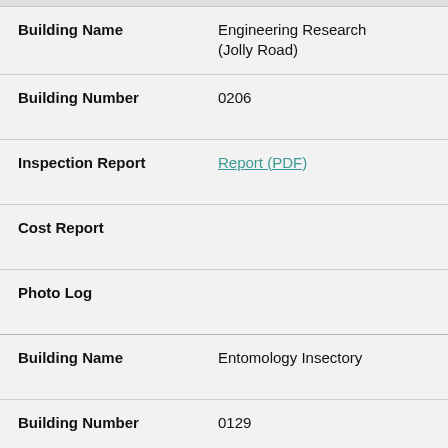| Field | Value |
| --- | --- |
| Building Name | Engineering Research (Jolly Road) |
| Building Number | 0206 |
| Inspection Report | Report (PDF) |
| Cost Report |  |
| Photo Log |  |
| Field | Value |
| --- | --- |
| Building Name | Entomology Insectory |
| Building Number | 0129 |
| Inspection Report | Report (PDF) |
| Cost Report |  |